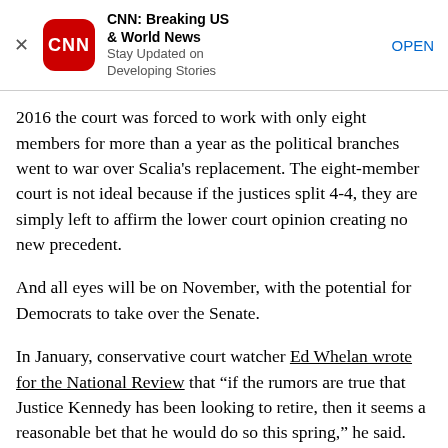[Figure (screenshot): CNN app advertisement banner with close button (X), CNN red rounded square logo, app title 'CNN: Breaking US & World News', subtitle 'Stay Updated on Developing Stories', and OPEN link button]
2016 the court was forced to work with only eight members for more than a year as the political branches went to war over Scalia's replacement. The eight-member court is not ideal because if the justices split 4-4, they are simply left to affirm the lower court opinion creating no new precedent.
And all eyes will be on November, with the potential for Democrats to take over the Senate.
In January, conservative court watcher Ed Whelan wrote for the National Review that “if the rumors are true that Justice Kennedy has been looking to retire, then it seems a reasonable bet that he would do so this spring,” he said.